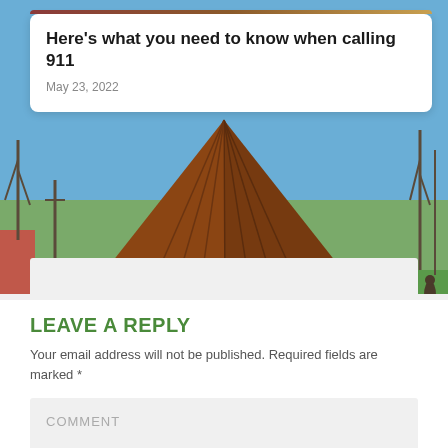[Figure (photo): Outdoor park scene with a wooden gazebo/pyramid roof structure, blue sky, green grass, and bare trees in autumn]
Here's what you need to know when calling 911
May 23, 2022
LEAVE A REPLY
Your email address will not be published. Required fields are marked *
COMMENT